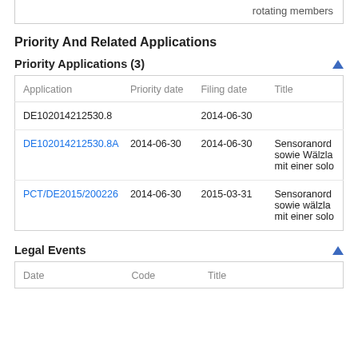rotating members
Priority And Related Applications
Priority Applications (3)
| Application | Priority date | Filing date | Title |
| --- | --- | --- | --- |
| DE102014212530.8 |  | 2014-06-30 |  |
| DE102014212530.8A | 2014-06-30 | 2014-06-30 | Sensoranord sowie Wälzla mit einer solo |
| PCT/DE2015/200226 | 2014-06-30 | 2015-03-31 | Sensoranord sowie wälzla mit einer solo |
Legal Events
| Date | Code | Title |
| --- | --- | --- |